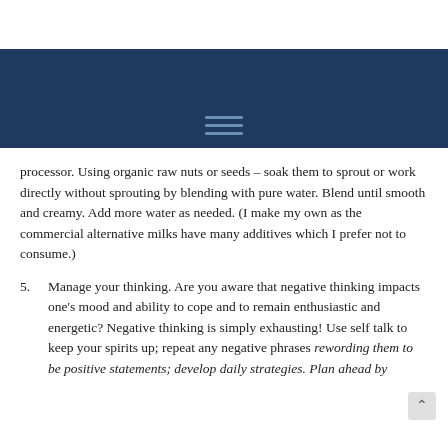[Figure (other): Dark blue navigation header bar with three horizontal menu lines icon centered]
processor.  Using organic raw nuts or seeds – soak them to sprout or work directly without sprouting by blending with pure water. Blend until smooth and creamy. Add more water as needed.  (I make my own as the commercial alternative milks have many additives which I prefer not to consume.)
5. Manage your thinking.  Are you aware that negative thinking impacts one's mood and ability to cope and to remain enthusiastic and energetic? Negative thinking is simply exhausting!  Use self talk to keep your spirits up; repeat any negative phrases rewording them to be positive statements; develop daily strategies.  Plan ahead by